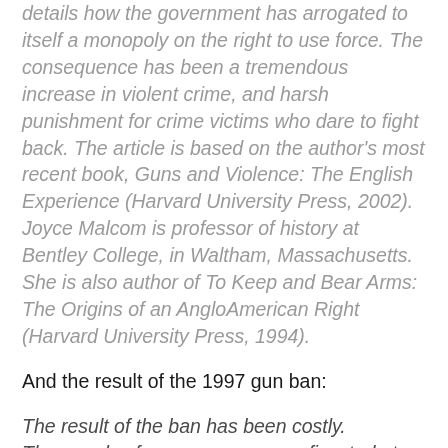details how the government has arrogated to itself a monopoly on the right to use force. The consequence has been a tremendous increase in violent crime, and harsh punishment for crime victims who dare to fight back. The article is based on the author's most recent book, Guns and Violence: The English Experience (Harvard University Press, 2002). Joyce Malcom is professor of history at Bentley College, in Waltham, Massachusetts. She is also author of To Keep and Bear Arms: The Origins of an AngloAmerican Right (Harvard University Press, 1994).
And the result of the 1997 gun ban:
The result of the ban has been costly. Thousands of weapons were confiscated at great financial cost to the public. Hundreds of thousands of police hours were devoted to the task. But in the six years